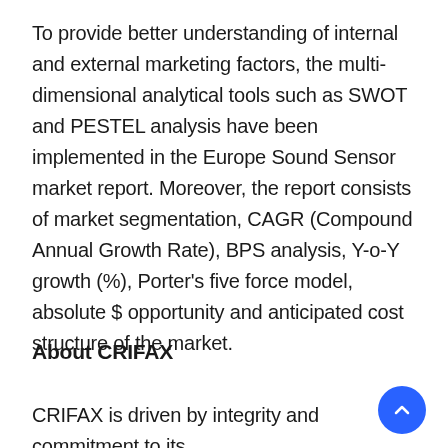To provide better understanding of internal and external marketing factors, the multi-dimensional analytical tools such as SWOT and PESTEL analysis have been implemented in the Europe Sound Sensor market report. Moreover, the report consists of market segmentation, CAGR (Compound Annual Growth Rate), BPS analysis, Y-o-Y growth (%), Porter's five force model, absolute $ opportunity and anticipated cost structure of the market.
About CRIFAX
CRIFAX is driven by integrity and commitment to its